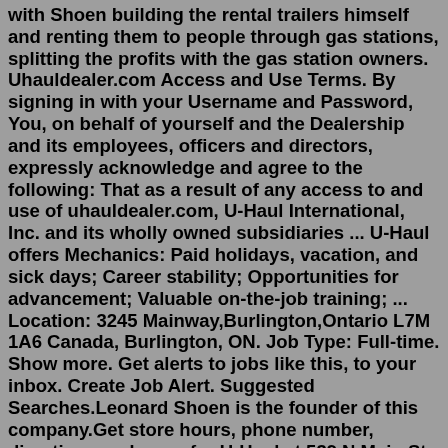with Shoen building the rental trailers himself and renting them to people through gas stations, splitting the profits with the gas station owners. Uhauldealer.com Access and Use Terms. By signing in with your Username and Password, You, on behalf of yourself and the Dealership and its employees, officers and directors, expressly acknowledge and agree to the following: That as a result of any access to and use of uhauldealer.com, U-Haul International, Inc. and its wholly owned subsidiaries ... U-Haul offers Mechanics: Paid holidays, vacation, and sick days; Career stability; Opportunities for advancement; Valuable on-the-job training; ... Location: 3245 Mainway,Burlington,Ontario L7M 1A6 Canada, Burlington, ON. Job Type: Full-time. Show more. Get alerts to jobs like this, to your inbox. Create Job Alert. Suggested Searches.Leonard Shoen is the founder of this company.Get store hours, phone number, directions and more for U-Haul at 539 N Main St, Doylestown, PA 18901. See other Trailer Hitches, Truck Rental, Moving Equipment Rental,